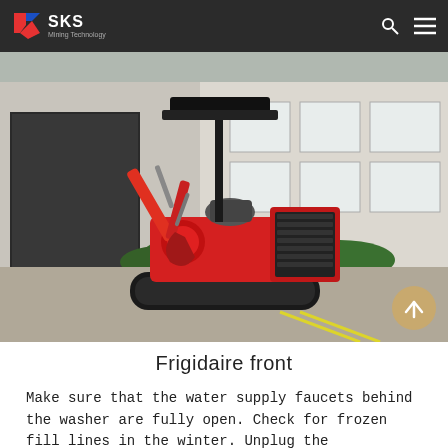SKS Mining Technology
[Figure (photo): A red mini excavator with black canopy and rubber tracks, parked on a concrete surface in front of an industrial building with green shrubs. Orange/red body, hydraulic arm raised, operator seat visible.]
Frigidaire front
Make sure that the water supply faucets behind the washer are fully open. Check for frozen fill lines in the winter. Unplug the